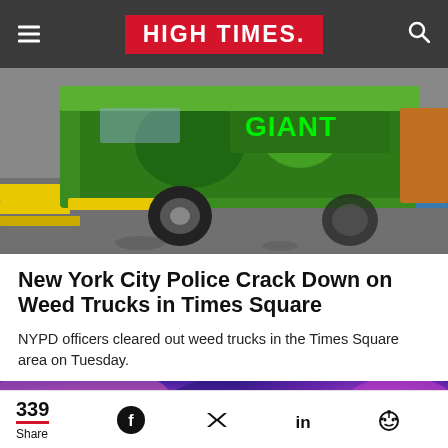HIGH TIMES
[Figure (photo): A colorful green truck with 'GIANT' text on it parked on a city street with yellow curb markings, viewed at close range.]
New York City Police Crack Down on Weed Trucks in Times Square
NYPD officers cleared out weed trucks in the Times Square area on Tuesday.
[Figure (photo): Close-up photo with pink/purple tones and blurred shapes, appearing to be cannabis-related content.]
339 Share